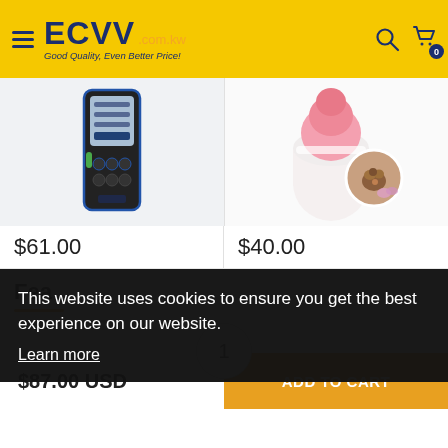ECVV .com.kw — Good Quality, Even Better Price!
[Figure (photo): Laser distance measuring tool, black with blue trim and digital display]
$61.00
[Figure (photo): Pink portable pet water bottle with round inset image of a dog]
$40.00
Fea
This website uses cookies to ensure you get the best experience on our website. Learn more
1
$87.00 USD
ADD TO CART